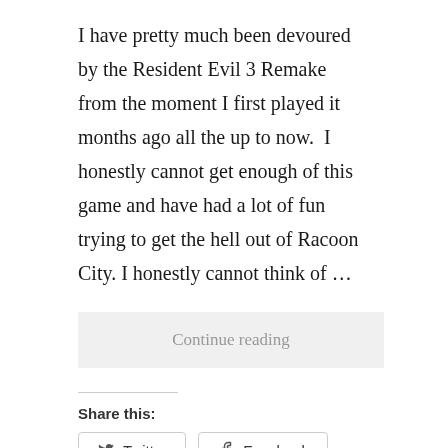I have pretty much been devoured by the Resident Evil 3 Remake from the moment I first played it months ago all the up to now.  I honestly cannot get enough of this game and have had a lot of fun trying to get the hell out of Racoon City. I honestly cannot think of …
Continue reading
Share this:
Twitter
Facebook
Loading…
esperdreams   remake, resident evil, Review
2 Comments   August 16, 2020   6 Minutes